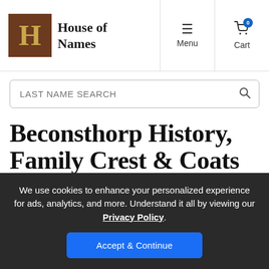House of Names
LAST NAME SEARCH
Beconsthorp History, Family Crest & Coats of Arms
We use cookies to enhance your personalized experience for ads, analytics, and more. Understand it all by viewing our Privacy Policy. Accept & Continue